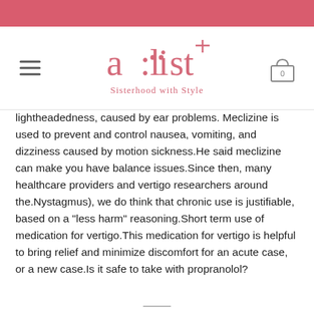a:list — Sisterhood with Style
lightheadedness, caused by ear problems. Meclizine is used to prevent and control nausea, vomiting, and dizziness caused by motion sickness.He said meclizine can make you have balance issues.Since then, many healthcare providers and vertigo researchers around the.Nystagmus), we do think that chronic use is justifiable, based on a "less harm" reasoning.Short term use of medication for vertigo.This medication for vertigo is helpful to bring relief and minimize discomfort for an acute case, or a new case.Is it safe to take with propranolol?